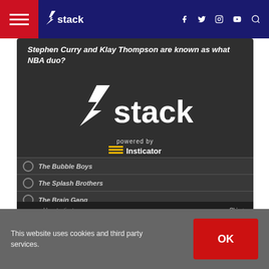stack — navigation bar with hamburger menu, facebook, twitter, instagram, youtube icons, search
[Figure (screenshot): Insticator quiz widget with Stack logo overlay. Question: Stephen Curry and Klay Thompson are known as what NBA duo? Answer options: The Bubble Boys, The Splash Brothers, The Brain Gang, The Dunkin' Duo. Powered by Insticator branding.]
This website uses cookies and third party services.